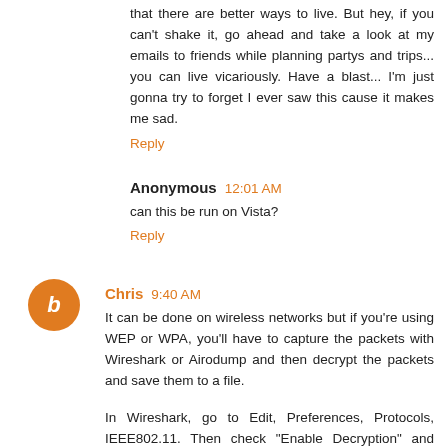that there are better ways to live. But hey, if you can't shake it, go ahead and take a look at my emails to friends while planning partys and trips... you can live vicariously. Have a blast... I'm just gonna try to forget I ever saw this cause it makes me sad.
Reply
Anonymous  12:01 AM
can this be run on Vista?
Reply
Chris  9:40 AM
It can be done on wireless networks but if you're using WEP or WPA, you'll have to capture the packets with Wireshark or Airodump and then decrypt the packets and save them to a file.
In Wireshark, go to Edit, Preferences, Protocols, IEEE802.11. Then check "Enable Decryption" and follow its